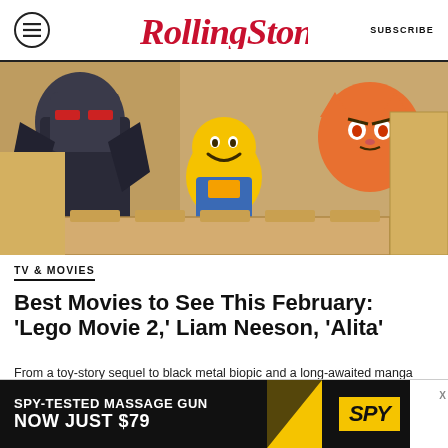Rolling Stone | SUBSCRIBE
[Figure (photo): Scene from The Lego Movie 2 showing animated LEGO characters including Emmet (yellow LEGO figure with smile) peeking out from behind LEGO bricks, with a dark armored figure and an orange cat character in the background]
TV & MOVIES
Best Movies to See This February: 'Lego Movie 2,' Liam Neeson, 'Alita'
From a toy-story sequel to black metal biopic and a long-awaited manga adaptation — here's what's coming to a theater near you this month
[Figure (infographic): Advertisement banner: SPY-TESTED MASSAGE GUN NOW JUST $79 with SPY logo on yellow background]